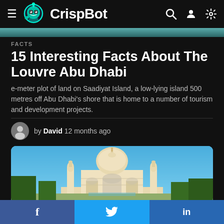CrispBot
FACTS
15 Interesting Facts About The Louvre Abu Dhabi
e-meter plot of land on Saadiyat Island, a low-lying island 500 metres off Abu Dhabi’s shore that is home to a number of tourism and development projects.
by David 12 months ago
[Figure (photo): Photo of the Taj Mahal with blue sky background]
[Figure (infographic): Social media sharing bar with Facebook, Twitter, and LinkedIn buttons]